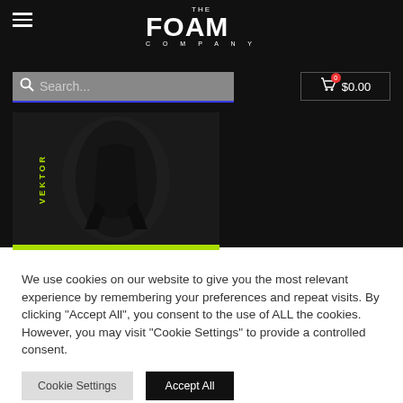[Figure (screenshot): Website header with The Foam Company logo, hamburger menu, search bar, and cart button on dark background]
[Figure (photo): Black protective gear/knee pad product (VEKTOR) displayed against dark background with yellow-green brand name text]
We use cookies on our website to give you the most relevant experience by remembering your preferences and repeat visits. By clicking "Accept All", you consent to the use of ALL the cookies. However, you may visit "Cookie Settings" to provide a controlled consent.
Cookie Settings   Accept All